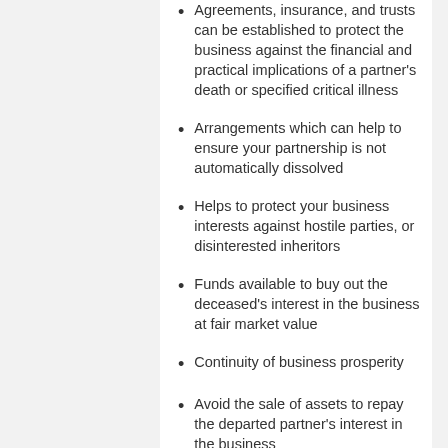Agreements, insurance, and trusts can be established to protect the business against the financial and practical implications of a partner's death or specified critical illness
Arrangements which can help to ensure your partnership is not automatically dissolved
Helps to protect your business interests against hostile parties, or disinterested inheritors
Funds available to buy out the deceased's interest in the business at fair market value
Continuity of business prosperity
Avoid the sale of assets to repay the departed partner's interest in the business
Help retain confidence of employees and